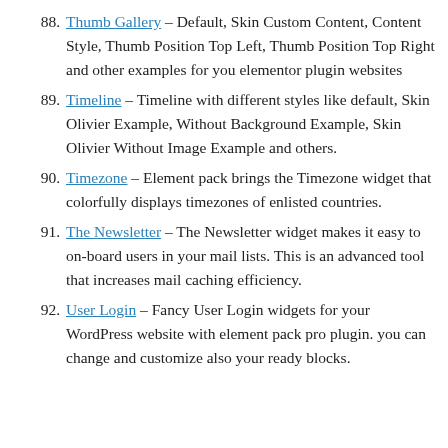88. Thumb Gallery – Default, Skin Custom Content, Content Style, Thumb Position Top Left, Thumb Position Top Right and other examples for you elementor plugin websites
89. Timeline – Timeline with different styles like default, Skin Olivier Example, Without Background Example, Skin Olivier Without Image Example and others.
90. Timezone – Element pack brings the Timezone widget that colorfully displays timezones of enlisted countries.
91. The Newsletter – The Newsletter widget makes it easy to on-board users in your mail lists. This is an advanced tool that increases mail caching efficiency.
92. User Login – Fancy User Login widgets for your WordPress website with element pack pro plugin. you can change and customize also your ready blocks.